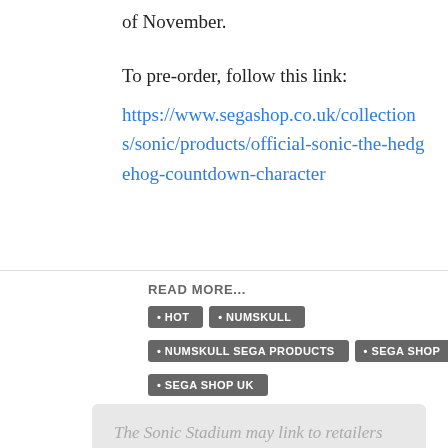of November.
To pre-order, follow this link:
https://www.segashop.co.uk/collections/sonic/products/official-sonic-the-hedgehog-countdown-character
READ MORE...
HOT
NUMSKULL
NUMSKULL SEGA PRODUCTS
SEGA SHOP
SEGA SHOP UK
The Sonic Stadium may link to retailers and earn a small commission on purchases made from users who click those links. These links will only appear in articles...